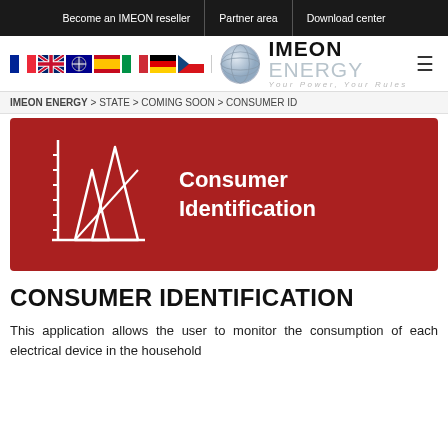Become an IMEON reseller | Partner area | Download center
[Figure (logo): IMEON ENERGY logo with globe icon, flags (French, British, Australian, Spanish, Italian, German, Czech), tagline: Your Power, Your Rules]
IMEON ENERGY > STATE > COMING SOON > CONSUMER ID
[Figure (illustration): Red banner image with white line-art bar chart/peaks logo and text 'Consumer Identification' in white bold font on dark red background]
CONSUMER IDENTIFICATION
This application allows the user to monitor the consumption of each electrical device in the household